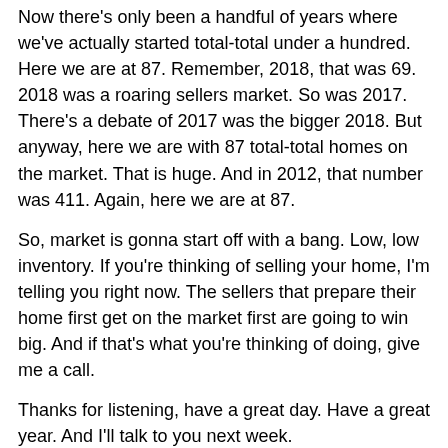Now there's only been a handful of years where we've actually started total-total under a hundred. Here we are at 87. Remember, 2018, that was 69. 2018 was a roaring sellers market. So was 2017. There's a debate of 2017 was the bigger 2018. But anyway, here we are with 87 total-total homes on the market. That is huge. And in 2012, that number was 411. Again, here we are at 87.
So, market is gonna start off with a bang. Low, low inventory. If you're thinking of selling your home, I'm telling you right now. The sellers that prepare their home first get on the market first are going to win big. And if that's what you're thinking of doing, give me a call.
Thanks for listening, have a great day. Have a great year. And I'll talk to you next week.
Written by Brian Klackle on January 3, 2022. Posted in Monday Morning Market Minute
Trackback from your site.